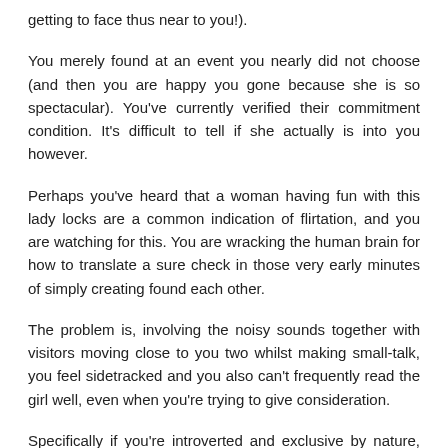getting to face thus near to you!).
You merely found at an event you nearly did not choose (and then you are happy you gone because she is so spectacular). You’ve currently verified their commitment condition. It’s difficult to tell if she actually is into you however.
Perhaps you’ve heard that a woman having fun with this lady locks are a common indication of flirtation, and you are watching for this. You are wracking the human brain for how to translate a sure check in those very early minutes of simply creating found each other.
The problem is, involving the noisy sounds together with visitors moving close to you two whilst making small-talk, you feel sidetracked and you also can’t frequently read the girl well, even when you’re trying to give consideration.
Specifically if you’re introverted and exclusive by nature, you may feel like it takes you quite a long time to limber